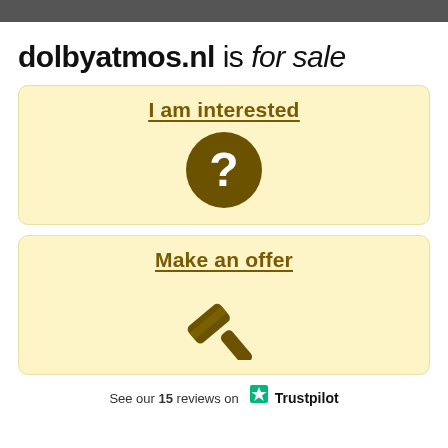dolbyatmos.nl is for sale
I am interested
[Figure (illustration): Dark olive/brown circle with white question mark inside]
Make an offer
[Figure (illustration): Dark olive/brown gavel (auction hammer) icon]
See our 15 reviews on Trustpilot